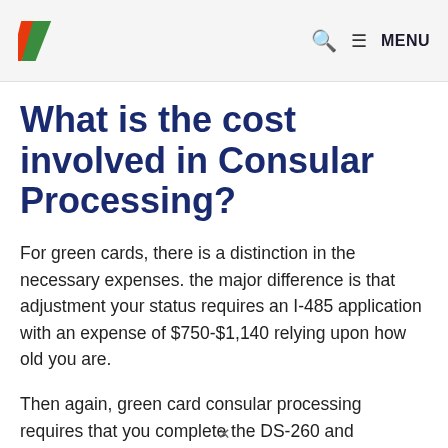HI [logo] | search | ≡ MENU
What is the cost involved in Consular Processing?
For green cards, there is a distinction in the necessary expenses. the major difference is that adjustment your status requires an I-485 application with an expense of $750-$1,140 relying upon how old you are.
Then again, green card consular processing requires that you complete the DS-260 and